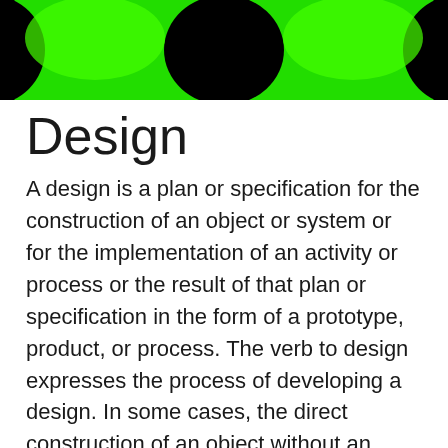[Figure (illustration): Green and black decorative header banner with bright neon green glowing shapes against a dark black background, resembling stylized geometric forms.]
Design
A design is a plan or specification for the construction of an object or system or for the implementation of an activity or process or the result of that plan or specification in the form of a prototype, product, or process. The verb to design expresses the process of developing a design. In some cases, the direct construction of an object without an explicit prior plan (such as in craftwork, some engineering, coding, and graphic design) may also be considered to be a design activity. The design usually has to satisfy certain goals and constraints; may take into account aesthetic, functional, economic, or socio-political considerations;